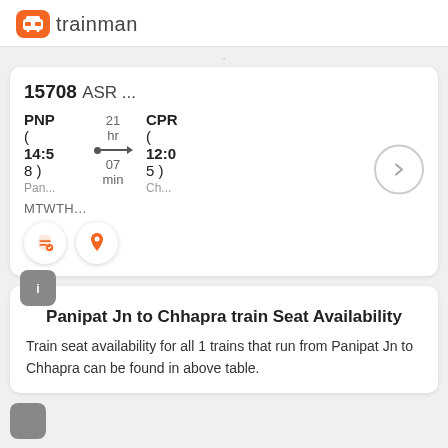tm trainman
15708 ASR ...
PNP  21  CPR
(  hr  (
14:58)  07 min  12:05)
Pan...  Ch...
MTWTH...
Panipat Jn to Chhapra train Seat Availability
Train seat availability for all 1 trains that run from Panipat Jn to Chhapra can be found in above table.